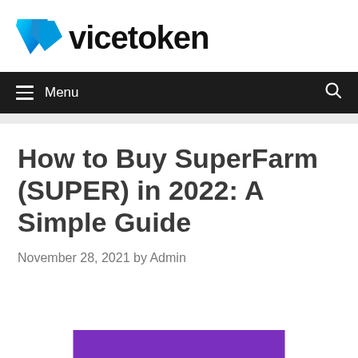[Figure (logo): Vicetoken logo with blue/cyan angular 'V' chevron shape and bold 'vicetoken' text in black]
Menu
How to Buy SuperFarm (SUPER) in 2022: A Simple Guide
November 28, 2021 by Admin
[Figure (other): Purple banner/image strip at bottom of page]